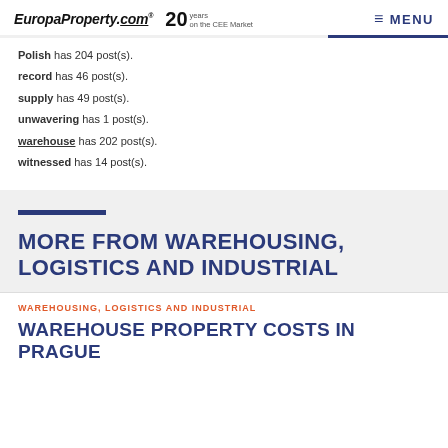EuropaProperty.com® 20 years on the CEE Market | MENU
Polish has 204 post(s).
record has 46 post(s).
supply has 49 post(s).
unwavering has 1 post(s).
warehouse has 202 post(s).
witnessed has 14 post(s).
MORE FROM WAREHOUSING, LOGISTICS AND INDUSTRIAL
WAREHOUSING, LOGISTICS AND INDUSTRIAL
WAREHOUSE PROPERTY COSTS IN PRAGUE